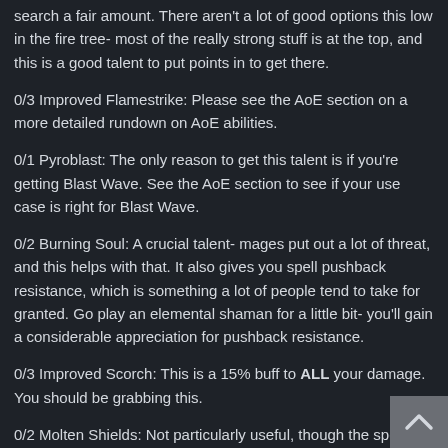search a fair amount. There aren't a lot of good options this low in the fire tree- most of the really strong stuff is at the top, and this is a good talent to put points in to get there.
0/3 Improved Flamestrike: Please see the AoE section on a more detailed rundown on AoE abilities.
0/1 Pyroblast: The only reason to get this talent is if you're getting Blast Wave. See the AoE section to see if your use case is right for Blast Wave.
0/2 Burning Soul: A crucial talent- mages put out a lot of threat, and this helps with that. It also gives you spell pushback resistance, which is something a lot of people tend to take for granted. Go play an elemental shaman for a little bit- you'll gain a considerable appreciation for pushback resistance.
0/3 Improved Scorch: This is a 15% buff to ALL your damage. You should be grabbing this.
0/2 Molten Shields: Not particularly useful, though the spell reflection on Fire Ward can be abused on Krosh Firehand you're having trouble mage tanking Krosh, consider this